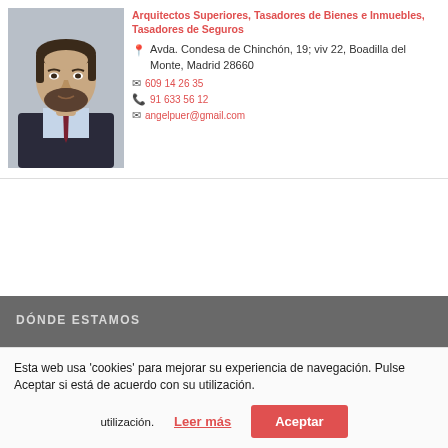[Figure (photo): Headshot photo of a middle-aged man with beard wearing a dark suit and tie]
Arquitectos Superiores, Tasadores de Bienes e Inmuebles, Tasadores de Seguros
Avda. Condesa de Chinchón, 19; viv 22, Boadilla del Monte, Madrid 28660
609 14 26 35
91 633 56 12
angelpuer@gmail.com
DÓNDE ESTAMOS
Esta web usa 'cookies' para mejorar su experiencia de navegación. Pulse Aceptar si está de acuerdo con su utilización.